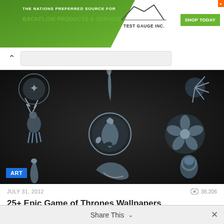[Figure (screenshot): Advertisement banner for backflow products and services - Test Gauge Inc.]
[Figure (photo): Game of Thrones metallic house sigils on dark background including stag, dragon, rose, direwolf and other house emblems with ART badge overlay]
JULY 31, 2012    38,206
25+ Epic Game of Thrones Wallpapers
Share This